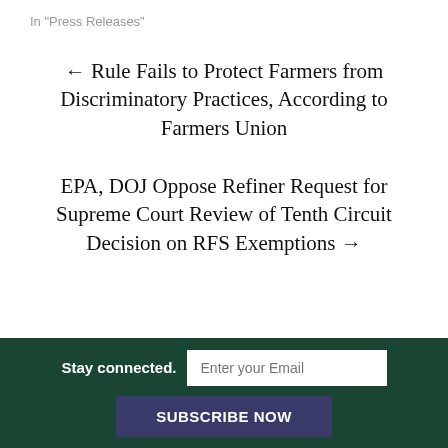In "Press Releases"
← Rule Fails to Protect Farmers from Discriminatory Practices, According to Farmers Union
EPA, DOJ Oppose Refiner Request for Supreme Court Review of Tenth Circuit Decision on RFS Exemptions →
Stay connected. Enter your Email SUBSCRIBE NOW